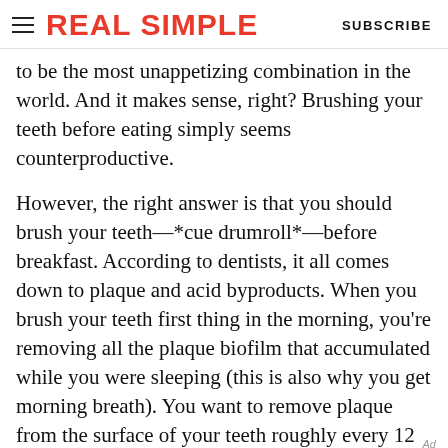REAL SIMPLE   SUBSCRIBE
to be the most unappetizing combination in the world. And it makes sense, right? Brushing your teeth before eating simply seems counterproductive.
However, the right answer is that you should brush your teeth—*cue drumroll*—before breakfast. According to dentists, it all comes down to plaque and acid byproducts. When you brush your teeth first thing in the morning, you're removing all the plaque biofilm that accumulated while you were sleeping (this is also why you get morning breath). You want to remove plaque from the surface of your teeth roughly every 12 hours